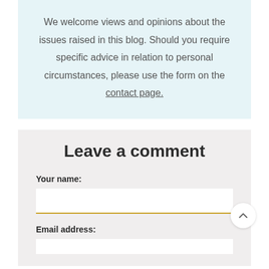We welcome views and opinions about the issues raised in this blog. Should you require specific advice in relation to personal circumstances, please use the form on the contact page.
Leave a comment
Your name:
Email address: